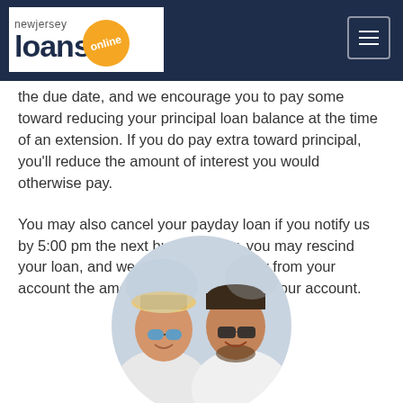New Jersey Loans Online
the due date, and we encourage you to pay some toward reducing your principal loan balance at the time of an extension. If you do pay extra toward principal, you'll reduce the amount of interest you would otherwise pay.
You may also cancel your payday loan if you notify us by 5:00 pm the next business day, you may rescind your loan, and we will simply withdraw from your account the amount we deposited into your account.
[Figure (photo): A smiling couple wearing sunglasses, displayed in a circular crop. The woman wears a hat and blue mirrored sunglasses; the man wears dark sunglasses.]